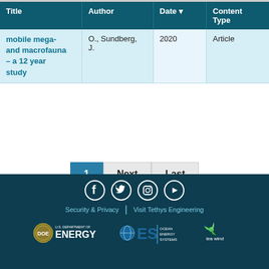| Title | Author | Date ↓ | Content Type |
| --- | --- | --- | --- |
| mobile mega- and macrofauna – a 12 year study | O., Sundberg, J. | 2020 | Article |
1  Next  Last
Displaying 1 - 40 of 210 results
[Figure (other): Footer with social media icons (Facebook, Twitter, Instagram, YouTube), links for Security & Privacy and Visit Tethys Engineering, and logos for U.S. Department of Energy, Ocean Energy Systems, and IEA Wind]